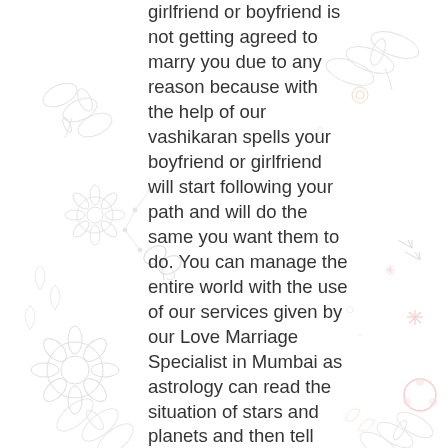[Figure (illustration): Decorative background illustration with floral patterns, dragonflies, dots, stars, butterflies, and other whimsical line-art elements in light pink, yellow, and grey tones on white background.]
girlfriend or boyfriend is not getting agreed to marry you due to any reason because with the help of our vashikaran spells your boyfriend or girlfriend will start following your path and will do the same you want them to do. You can manage the entire world with the use of our services given by our Love Marriage Specialist in Mumbai as astrology can read the situation of stars and planets and then tell you the ways to make them work in favor of you. Contact our expert and find a way to get out of